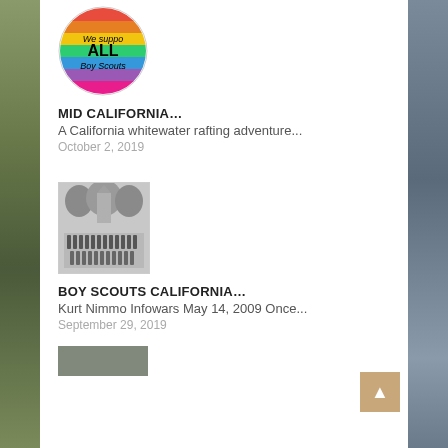[Figure (photo): Rainbow circular badge/pin reading 'We support ALL Boy Scouts']
MID CALIFORNIA...
A California whitewater rafting adventure...
October 2, 2019
[Figure (photo): Black and white group photo of Boy Scouts]
BOY SCOUTS CALIFORNIA...
Kurt Nimmo Infowars May 14, 2009 Once...
September 29, 2019
[Figure (photo): Partial image at bottom of page, cut off]